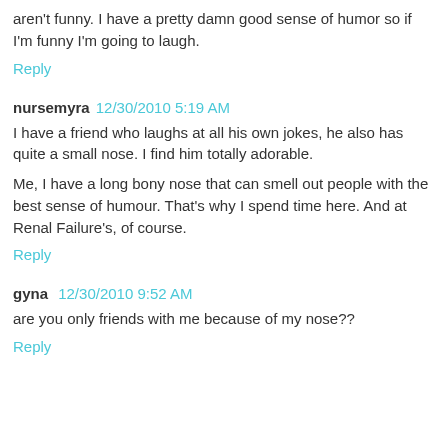aren't funny. I have a pretty damn good sense of humor so if I'm funny I'm going to laugh.
Reply
nursemyra 12/30/2010 5:19 AM
I have a friend who laughs at all his own jokes, he also has quite a small nose. I find him totally adorable.
Me, I have a long bony nose that can smell out people with the best sense of humour. That's why I spend time here. And at Renal Failure's, of course.
Reply
gyna 12/30/2010 9:52 AM
are you only friends with me because of my nose??
Reply